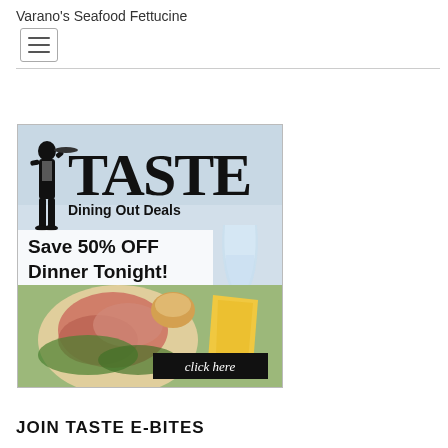Varano's Seafood Fettucine
[Figure (illustration): TASTE Dining Out Deals advertisement banner. Features a waiter silhouette, large TASTE text, 'Dining Out Deals' subtitle, 'Save 50% OFF Dinner Tonight!' text, food and drink photo, and a 'click here' button.]
JOIN TASTE E-BITES